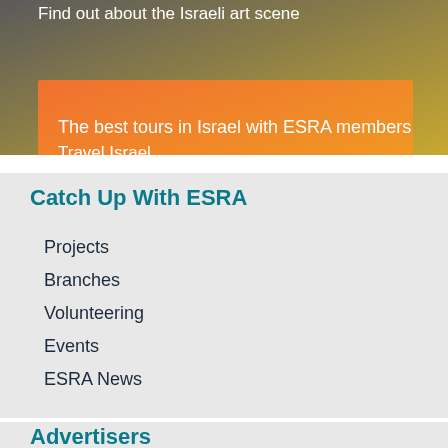[Figure (illustration): Top banner with gradient background (dark gray to gold) containing text 'Find out about the Israeli art scene', and an orange-to-yellow gradient banner below with text 'The best tours in Israel with ESRA members' and a 'Travel Israel' link.]
Catch Up With ESRA
Projects
Branches
Volunteering
Events
ESRA News
Advertisers